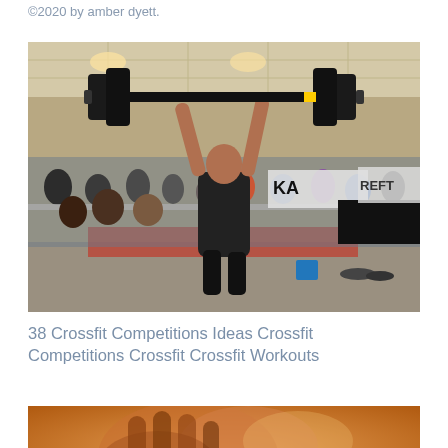©2020 by amber dyett.
[Figure (photo): Athlete performing an overhead barbell lift at a CrossFit competition inside a convention hall, surrounded by spectators and sponsor banners including KA and REFT logos.]
38 Crossfit Competitions Ideas Crossfit Competitions Crossfit Crossfit Workouts
[Figure (photo): Close-up photo of hands gripping something, warm orange/amber background tones.]